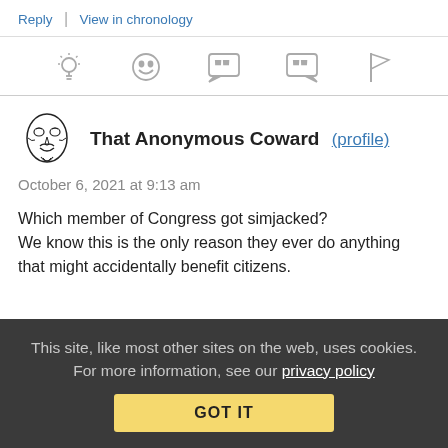Reply | View in chronology
[Figure (other): Row of reaction/action icons: lightbulb, laughing emoji, quote bubble (open), quote bubble (close), flag]
[Figure (illustration): Anonymous mask avatar (Guy Fawkes style)]
That Anonymous Coward (profile)
October 6, 2021 at 9:13 am
Which member of Congress got simjacked?
We know this is the only reason they ever do anything that might accidentally benefit citizens.
This site, like most other sites on the web, uses cookies. For more information, see our privacy policy
GOT IT